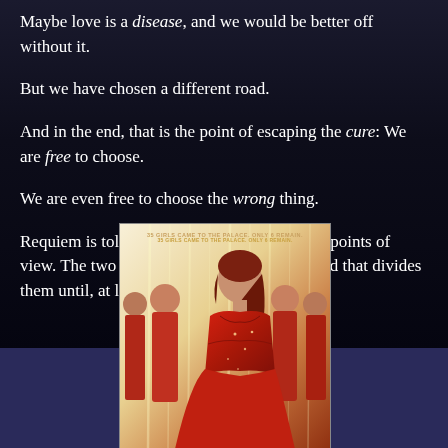Maybe love is a disease, and we would be better off without it.
But we have chosen a different road.
And in the end, that is the point of escaping the cure: We are free to choose.
We are even free to choose the wrong thing.
Requiem is told from both Lena’s and Hana’s points of view. The two girls live side by side in a world that divides them until, at last, their stories converge.
[Figure (photo): Book cover showing a woman in a red gown with text '35 GIRLS CAME TO THE PALACE. ONLY 6 REMAIN.']